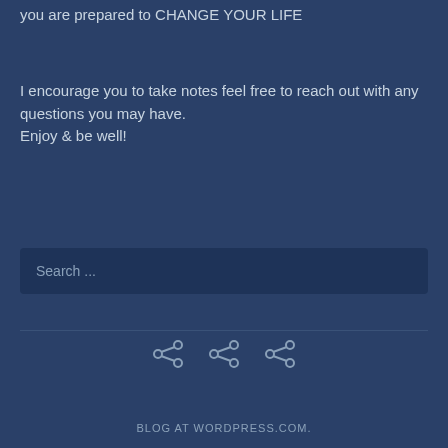you are prepared to CHANGE YOUR LIFE
I encourage you to take notes feel free to reach out with any questions you may have.
Enjoy & be well!
Search ...
[Figure (other): Three share/social icons]
BLOG AT WORDPRESS.COM.